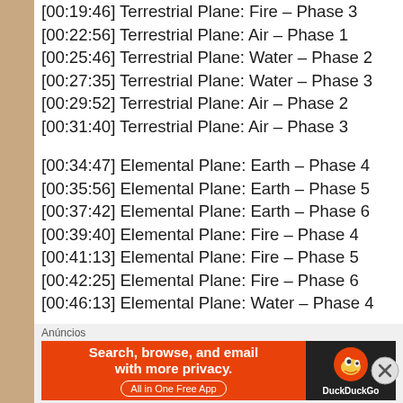[00:19:46] Terrestrial Plane: Fire – Phase 3
[00:22:56] Terrestrial Plane: Air – Phase 1
[00:25:46] Terrestrial Plane: Water – Phase 2
[00:27:35] Terrestrial Plane: Water – Phase 3
[00:29:52] Terrestrial Plane: Air – Phase 2
[00:31:40] Terrestrial Plane: Air – Phase 3
[00:34:47] Elemental Plane: Earth – Phase 4
[00:35:56] Elemental Plane: Earth – Phase 5
[00:37:42] Elemental Plane: Earth – Phase 6
[00:39:40] Elemental Plane: Fire – Phase 4
[00:41:13] Elemental Plane: Fire – Phase 5
[00:42:25] Elemental Plane: Fire – Phase 6
[00:46:13] Elemental Plane: Water – Phase 4
Anúncios
[Figure (screenshot): DuckDuckGo advertisement banner: 'Search, browse, and email with more privacy. All in One Free App' on orange background with DuckDuckGo logo on dark background.]